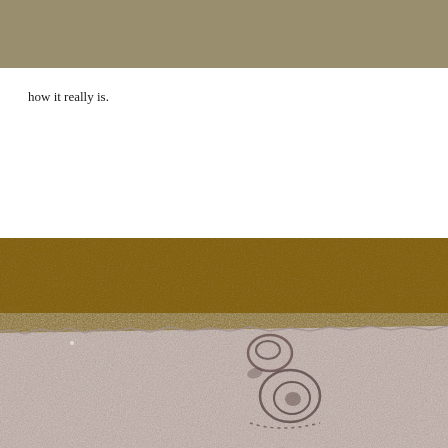[Figure (photo): Top portion of a tan/beige wall or surface, photographed from above. Muted brownish-tan color.]
how it really is.
[Figure (photo): Close-up photograph of a textured fabric piece (possibly fur or felt) with dark stamped or printed marks resembling abstract figures, lying against a dark golden-brown wall or surface.]